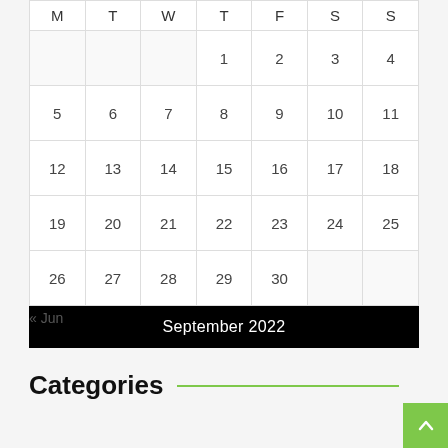| M | T | W | T | F | S | S |
| --- | --- | --- | --- | --- | --- | --- |
|  |  |  | 1 | 2 | 3 | 4 |
| 5 | 6 | 7 | 8 | 9 | 10 | 11 |
| 12 | 13 | 14 | 15 | 16 | 17 | 18 |
| 19 | 20 | 21 | 22 | 23 | 24 | 25 |
| 26 | 27 | 28 | 29 | 30 |  |  |
September 2022
« Jun
Categories